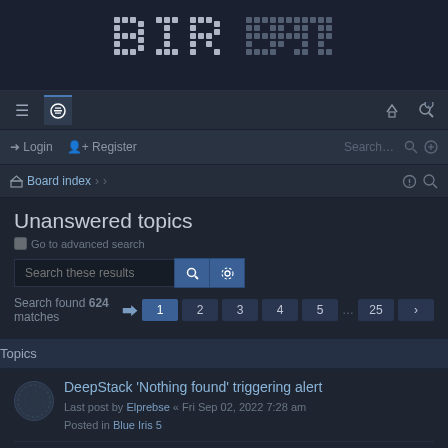[Figure (logo): Dot-matrix style forum logo in white/grey dots on dark background]
Navigation bar with hamburger menu, chat icon, login and register icons
Login   Register   Search...
Board index > >
Unanswered topics
Go to advanced search
Search these results
Search found 624 matches   1  2  3  4  5  ...  25  >
Topics
DeepStack 'Nothing found' triggering alert
Last post by Elprebse « Fri Sep 02, 2022 7:28 am
Posted in Blue Iris 5
Deepstack, Motion Triggers and zones - clarification needed